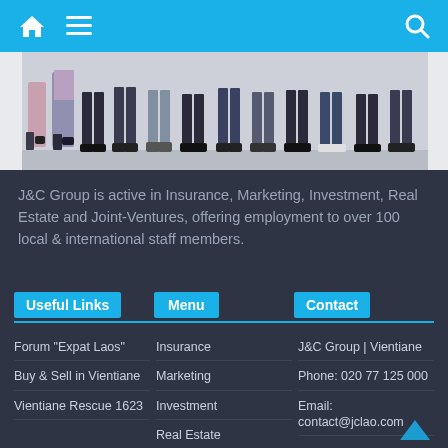Navigation bar with home, menu, and search icons
[Figure (photo): Photo showing legs and feet of a group of people standing together]
J&C Group is active in Insurance, Marketing, Investment, Real Estate and Joint-Ventures, offering employment to over 100 local & international staff members.
Useful Links
Menu
Contact
Forum “Expat Laos”
Buy & Sell in Vientiane
Vientiane Rescue 1623
Insurance
Marketing
Investment
Real Estate
About Us
J&C Group | Vientiane
Phone: 020 77 125 000
Email: contact@jclao.com